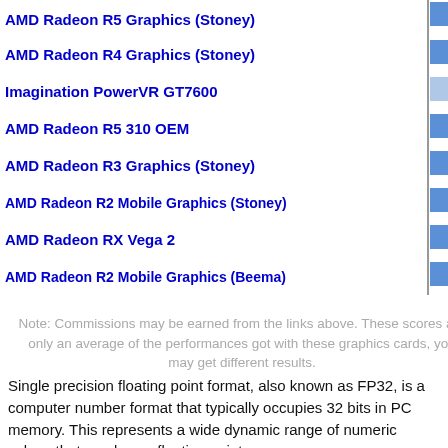[Figure (bar-chart): GPU comparison (partial)]
Note: Commissions may be earned from the links above. These scores are only an average of the performances got with these graphics cards, you may get different results.
Single precision floating point format, also known as FP32, is a computer number format that typically occupies 32 bits in PC memory. This represents a wide dynamic range of numeric values that employs a floating point.